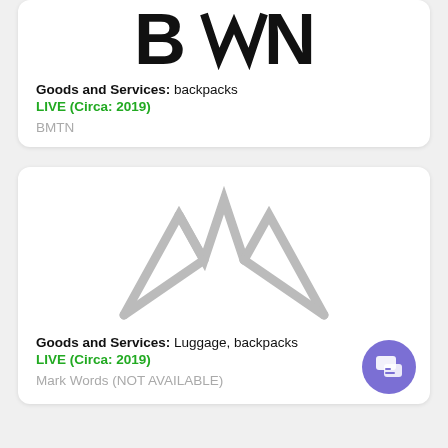[Figure (logo): BMTN brand logo with stylized mountain/letter design in black text style]
Goods and Services: backpacks
LIVE (Circa: 2019)
BMTN
[Figure (logo): Stylized triple mountain peaks logo in gray outline]
Goods and Services: Luggage, backpacks
LIVE (Circa: 2019)
Mark Words (NOT AVAILABLE)